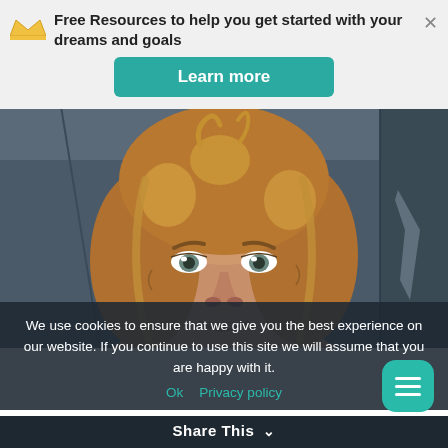Free Resources to help you get started with your dreams and goals
Learn more
[Figure (photo): Close-up photo of a person with curly reddish-blonde hair against a dark background]
We use cookies to ensure that we give you the best experience on our website. If you continue to use this site we will assume that you are happy with it.
Ok   Privacy policy
Share This